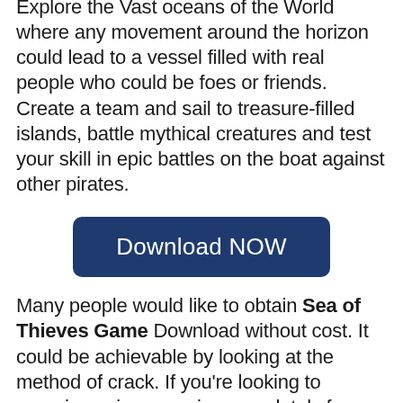Explore the Vast oceans of the World where any movement around the horizon could lead to a vessel filled with real people who could be foes or friends. Create a team and sail to treasure-filled islands, battle mythical creatures and test your skill in epic battles on the boat against other pirates.
[Figure (other): A dark navy blue rounded rectangle button with white text reading 'Download NOW']
Many people would like to obtain Sea of Thieves Game Download without cost. It could be achievable by looking at the method of crack. If you're looking to experience issues using completely free crack files, we're providing a professional-constructed one.